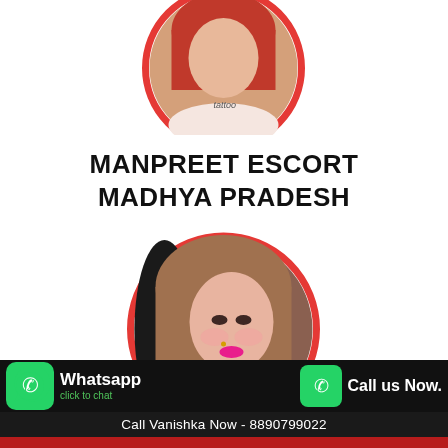[Figure (photo): Circular cropped photo of a woman with red hair, tattoo on chest, white top, with red circular border — top of page]
MANPREET ESCORT MADHYA PRADESH
[Figure (photo): Circular cropped photo of a young woman with brown hair, pink makeup, nose ring, with red circular border]
Whatsapp click to chat
Call us Now.
Call Vanishka Now - 8890799022
WhatsApp To Vanishka - 8890799022
SHAGUN ESCORT MADHYA PRADESH